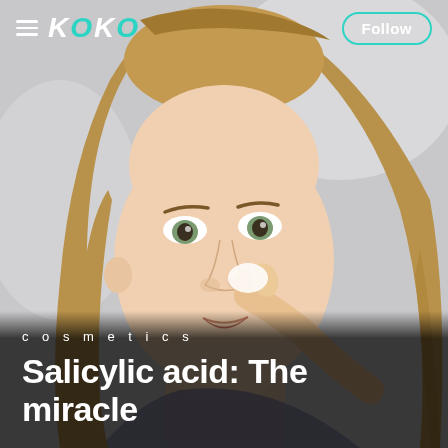[Figure (photo): Young woman applying cream or skincare product to her cheek with her fingers, looking upward. Light background, casual setting. Skincare/cosmetics context.]
≡ KOKO   Follow
c o s m e t i c s
Salicylic acid: The miracle